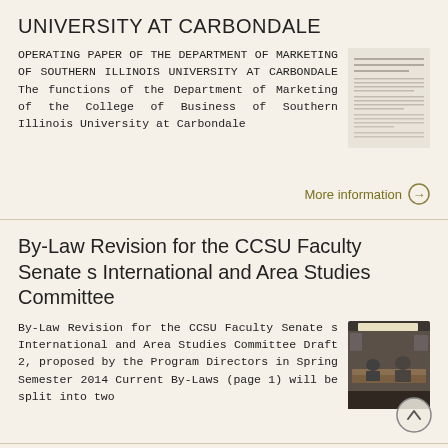UNIVERSITY AT CARBONDALE
OPERATING PAPER OF THE DEPARTMENT OF MARKETING OF SOUTHERN ILLINOIS UNIVERSITY AT CARBONDALE The functions of the Department of Marketing of the College of Business of Southern Illinois University at Carbondale
[Figure (screenshot): Thumbnail image of a document page with text lines]
More information →
By-Law Revision for the CCSU Faculty Senate s International and Area Studies Committee
By-Law Revision for the CCSU Faculty Senate s International and Area Studies Committee Draft 2, proposed by the Program Directors in Spring Semester 2014 Current By-Laws (page 1) will be split into two
[Figure (photo): Photo of a room with people sitting around a table, office setting with overhead lighting]